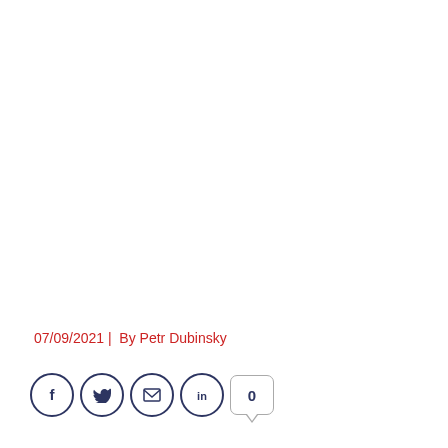07/09/2021 |  By Petr Dubinsky
[Figure (other): Social sharing icons: Facebook, Twitter, Email, LinkedIn buttons (circular, dark navy border), and a comment count button showing 0]